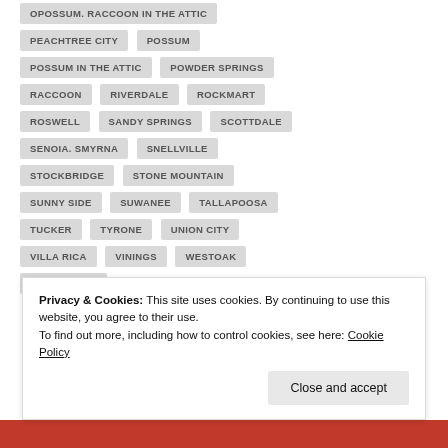OPOSSUM. RACCOON IN THE ATTIC
PEACHTREE CITY
POSSUM
POSSUM IN THE ATTIC
POWDER SPRINGS
RACCOON
RIVERDALE
ROCKMART
ROSWELL
SANDY SPRINGS
SCOTTDALE
SENOIA. SMYRNA
SNELLVILLE
STOCKBRIDGE
STONE MOUNTAIN
SUNNY SIDE
SUWANEE
TALLAPOOSA
TUCKER
TYRONE
UNION CITY
VILLA RICA
VININGS
WESTOAK
WOODSTOCK
Privacy & Cookies: This site uses cookies. By continuing to use this website, you agree to their use. To find out more, including how to control cookies, see here: Cookie Policy
Close and accept